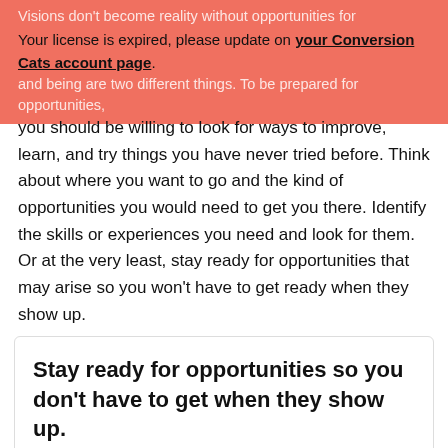Visions don't become reality without opportunities for
Your license is expired, please update on your Conversion Cats account page.
and being are two different things. To be prepared for opportunities, you should be willing to look for ways to improve, learn, and try things you have never tried before. Think about where you want to go and the kind of opportunities you would need to get you there. Identify the skills or experiences you need and look for them. Or at the very least, stay ready for opportunities that may arise so you won't have to get ready when they show up.
Stay ready for opportunities so you don't have to get when they show up. CLICK TO TWEET